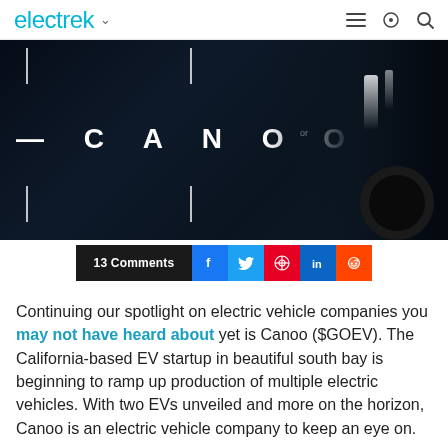electrek
[Figure (photo): Dark background image showing the CANOO electric vehicle brand name in white letters with decorative vertical line elements. Vehicle silhouette visible on the right side.]
13 Comments
Continuing our spotlight on electric vehicle companies you may not have heard about yet is Canoo ($GOEV). The California-based EV startup in beautiful south bay is beginning to ramp up production of multiple electric vehicles. With two EVs unveiled and more on the horizon, Canoo is an electric vehicle company to keep an eye on.
EXPAND FULL STORY +
STORIES